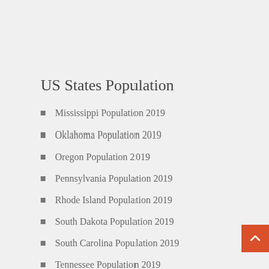US States Population
Mississippi Population 2019
Oklahoma Population 2019
Oregon Population 2019
Pennsylvania Population 2019
Rhode Island Population 2019
South Dakota Population 2019
South Carolina Population 2019
Tennessee Population 2019
Texas Population 2019